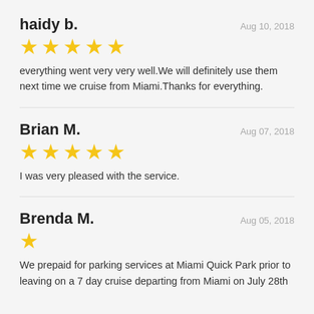haidy b.
Aug 10, 2018
[Figure (other): 5 gold stars rating]
everything went very very well.We will definitely use them next time we cruise from Miami.Thanks for everything.
Brian M.
Aug 07, 2018
[Figure (other): 5 gold stars rating]
I was very pleased with the service.
Brenda M.
Aug 05, 2018
[Figure (other): 1 gold star rating]
We prepaid for parking services at Miami Quick Park prior to leaving on a 7 day cruise departing from Miami on July 28th